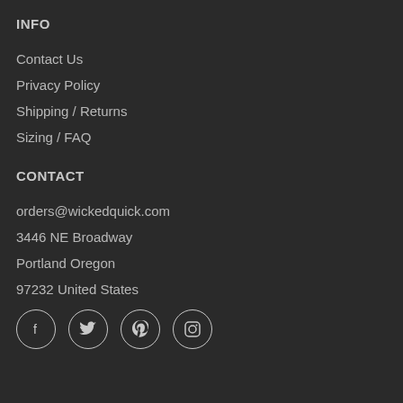INFO
Contact Us
Privacy Policy
Shipping / Returns
Sizing / FAQ
CONTACT
orders@wickedquick.com
3446 NE Broadway
Portland Oregon
97232 United States
[Figure (infographic): Row of four social media icon circles: Facebook, Twitter, Pinterest, Instagram]